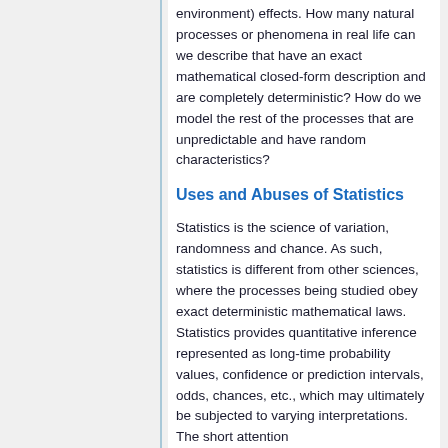environment) effects. How many natural processes or phenomena in real life can we describe that have an exact mathematical closed-form description and are completely deterministic? How do we model the rest of the processes that are unpredictable and have random characteristics?
Uses and Abuses of Statistics
Statistics is the science of variation, randomness and chance. As such, statistics is different from other sciences, where the processes being studied obey exact deterministic mathematical laws. Statistics provides quantitative inference represented as long-time probability values, confidence or prediction intervals, odds, chances, etc., which may ultimately be subjected to varying interpretations. The short attention...